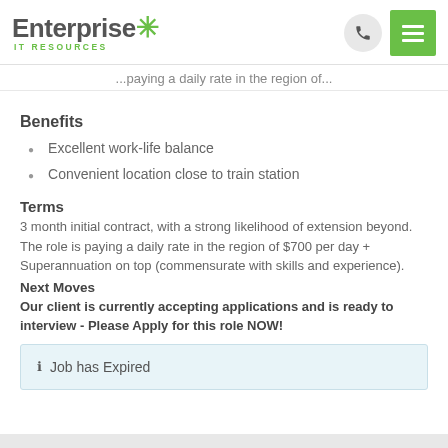Enterprise IT Resources
...paying a daily rate in the region of...
Benefits
Excellent work-life balance
Convenient location close to train station
Terms
3 month initial contract, with a strong likelihood of extension beyond. The role is paying a daily rate in the region of $700 per day + Superannuation on top (commensurate with skills and experience).
Next Moves
Our client is currently accepting applications and is ready to interview - Please Apply for this role NOW!
Job has Expired